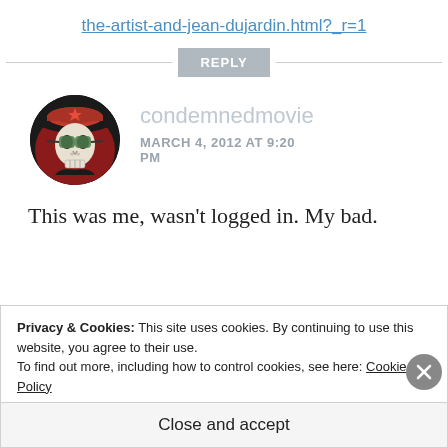the-artist-and-jean-dujardin.html?_r=1
REPLY
[Figure (photo): Circular avatar image showing a skull illustration styled like a revolutionary poster with red and black colors, wearing a beret]
condemnedmovie
MARCH 4, 2012 AT 9:20 PM
This was me, wasn't logged in. My bad.
Privacy & Cookies: This site uses cookies. By continuing to use this website, you agree to their use.
To find out more, including how to control cookies, see here: Cookie Policy
Close and accept